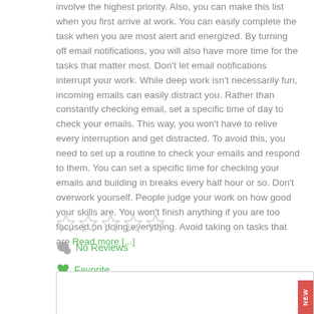involve the highest priority. Also, you can make this list when you first arrive at work. You can easily complete the task when you are most alert and energized. By turning off email notifications, you will also have more time for the tasks that matter most. Don't let email notifications interrupt your work. While deep work isn't necessarily fun, incoming emails can easily distract you. Rather than constantly checking email, set a specific time of day to check your emails. This way, you won't have to relive every interruption and get distracted. To avoid this, you need to set up a routine to check your emails and respond to them. You can set a specific time for checking your emails and building in breaks every half hour or so. Don't overwork yourself. People judge your work on how good your skills are. You won't finish anything if you are too focused on doing everything. Avoid taking on tasks that are Read more [...]
[Figure (other): Five empty star rating icons]
No Reviews
Favorite
[Figure (other): Text input box with a red NEW badge in the corner]